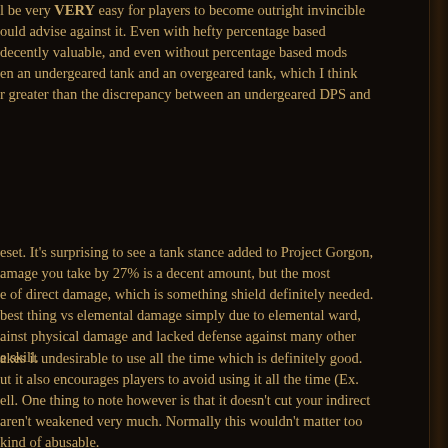l be very VERY easy for players to become outright invincible ould advise against it. Even with hefty percentage based decently valuable, and even without percentage based mods en an undergeared tank and an overgeared tank, which I think r greater than the discrepancy between an undergeared DPS and
eset. It's surprising to see a tank stance added to Project Gorgon, amage you take by 27% is a decent amount, but the most e of direct damage, which is something shield definitely needed. best thing vs elemental damage simply due to elemental ward, ainst physical damage and lacked defense against many other e skill.
akes it undesirable to use all the time which is definitely good. ut it also encourages players to avoid using it all the time (Ex. ell. One thing to note however is that it doesn't cut your indirect aren't weakened very much. Normally this wouldn't matter too kind of abusable.